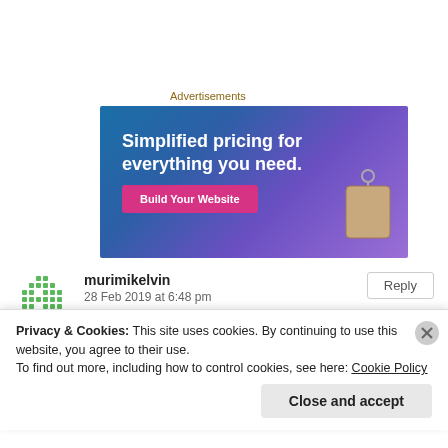Advertisements
[Figure (screenshot): Advertisement banner with gradient blue-purple background, text 'Simplified pricing for everything you need.' with a pink 'Build Your Website' button and a price tag image.]
murimikelvin
28 Feb 2019 at 6:48 pm
Great piece my brother, keep up the good wor 🙂 🙂
Privacy & Cookies: This site uses cookies. By continuing to use this website, you agree to their use.
To find out more, including how to control cookies, see here: Cookie Policy